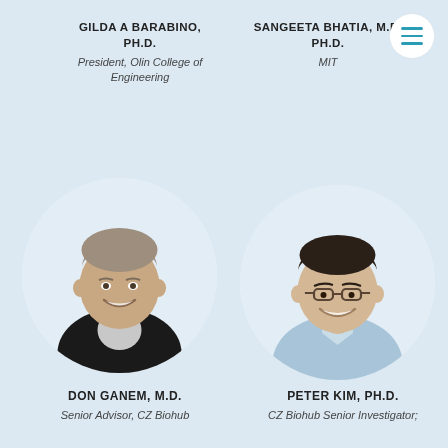GILDA A BARABINO, PH.D.
President, Olin College of Engineering
SANGEETA BHATIA, M.D. PH.D.
MIT
[Figure (photo): Circular portrait photo of Don Ganem, M.D., a smiling middle-aged man wearing a dark vest over a light shirt]
[Figure (photo): Circular portrait photo of Peter Kim, Ph.D., a smiling Asian man wearing glasses and a light blue shirt]
DON GANEM, M.D.
Senior Advisor, CZ Biohub
PETER KIM, PH.D.
CZ Biohub Senior Investigator;